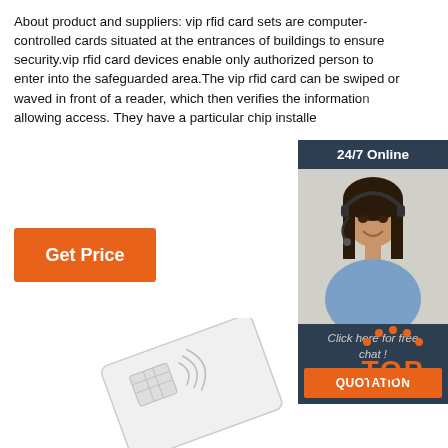About product and suppliers: vip rfid card sets are computer-controlled cards situated at the entrances of buildings to ensure security.vip rfid card devices enable only authorized person to enter into the safeguarded area.The vip rfid card can be swiped or waved in front of a reader, which then verifies the information allowing access. They have a particular chip installe
[Figure (other): Orange 'Get Price' button]
[Figure (other): Chat widget with '24/7 Online' header, photo of a woman with headset, 'Click here for free chat!' text and orange QUOTATION button]
[Figure (logo): Orange 'TOP' logo with dots above forming an arc]
[Figure (photo): Partial photo of white RFID card product at bottom of page]